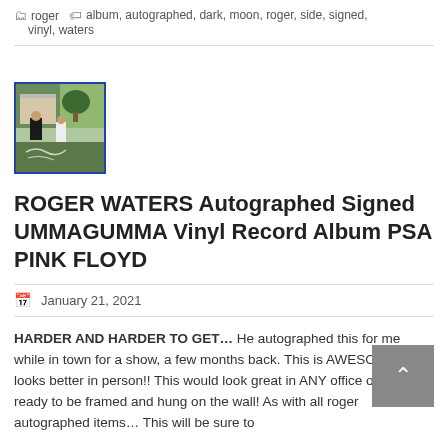roger   album, autographed, dark, moon, roger, side, signed, vinyl, waters
[Figure (photo): Thumbnail image of the Ummagumma album cover showing two people near a building with trees, framed with a blue border]
ROGER WATERS Autographed Signed UMMAGUMMA Vinyl Record Album PSA PINK FLOYD
January 21, 2021
HARDER AND HARDER TO GET… He autographed this for me while in town for a show, a few months back. This is AWESOME and looks better in person!! This would look great in ANY office or den. It is ready to be framed and hung on the wall! As with all roger autographed items… This will be sure to